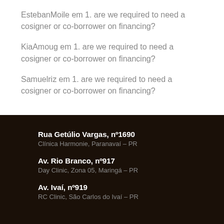EstebanMoile em 1. are we required to need a cosigner or co-borrower on financing?
KiaAmoug em 1. are we required to need a cosigner or co-borrower on financing?
Samuelriz em 1. are we required to need a cosigner or co-borrower on financing?
Rua Getúlio Vargas, nº1690
Clínica Harmonie, Paranavaí – PR
Av. Rio Branco, nº917
Day Clinic, Zona 05, Maringá – PR
Av. Ivaí, nº919
RC Clinic, São Carlos do Ivaí – PR